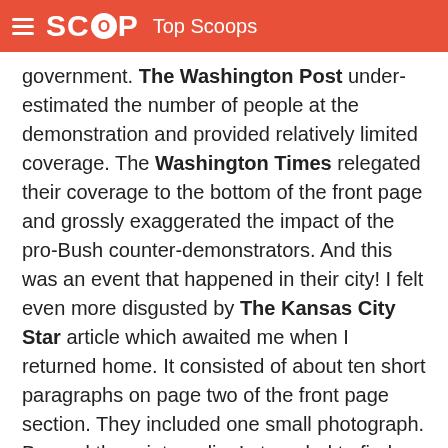SCOOP Top Scoops
government. The Washington Post under-estimated the number of people at the demonstration and provided relatively limited coverage. The Washington Times relegated their coverage to the bottom of the front page and grossly exaggerated the impact of the pro-Bush counter-demonstrators. And this was an event that happened in their city! I felt even more disgusted by The Kansas City Star article which awaited me when I returned home. It consisted of about ten short paragraphs on page two of the front page section. They included one small photograph. Beyond the print media, I struggled to find minor mention of the event on television news.